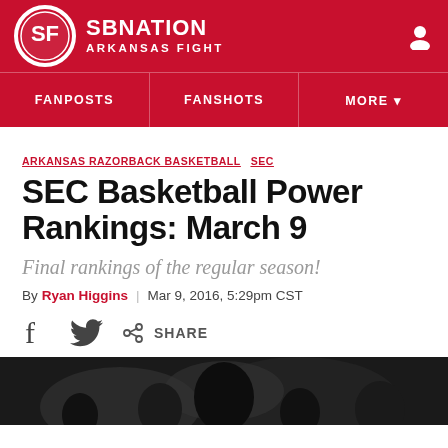SB NATION / ARKANSAS FIGHT
FANPOSTS | FANSHOTS | MORE
ARKANSAS RAZORBACK BASKETBALL  SEC
SEC Basketball Power Rankings: March 9
Final rankings of the regular season!
By Ryan Higgins | Mar 9, 2016, 5:29pm CST
SHARE
[Figure (photo): Dark photo of a crowd/basketball game scene at the bottom of the page]